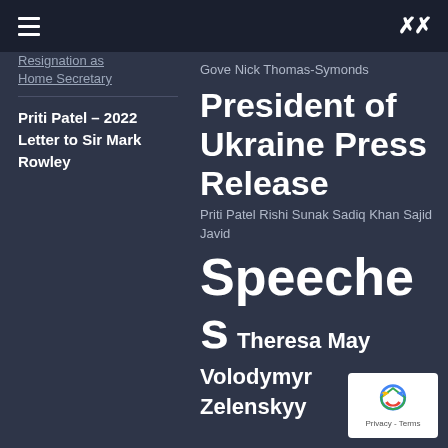Navigation menu
Resignation as Home Secretary
Priti Patel – 2022 Letter to Sir Mark Rowley
Gove Nick Thomas-Symonds
President of Ukraine Press Release
Priti Patel Rishi Sunak Sadiq Khan Sajid Javid
Speeches
Theresa May
Volodymyr Zelenskyy
[Figure (logo): reCAPTCHA badge with Privacy - Terms text]